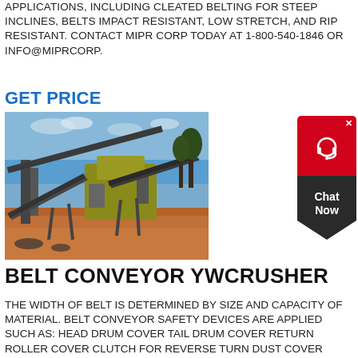APPLICATIONS, INCLUDING CLEATED BELTING FOR STEEP INCLINES, BELTS IMPACT RESISTANT, LOW STRETCH, AND RIP RESISTANT. CONTACT MIPR CORP TODAY AT 1-800-540-1846 OR INFO@MIPRCORP.
GET PRICE
[Figure (photo): Outdoor industrial belt conveyor system / YW crusher equipment at a mining or quarrying site, showing conveyor belts, machinery, and red dirt terrain under a blue sky.]
[Figure (other): Chat Now widget button with red top section showing headset icon, dark bottom with Chat Now text and chevron shape.]
BELT CONVEYOR YWCRUSHER
THE WIDTH OF BELT IS DETERMINED BY SIZE AND CAPACITY OF MATERIAL. BELT CONVEYOR SAFETY DEVICES ARE APPLIED SUCH AS: HEAD DRUM COVER TAIL DRUM COVER RETURN ROLLER COVER CLUTCH FOR REVERSE TURN DUST COVER WALK WAY & HAND RAI